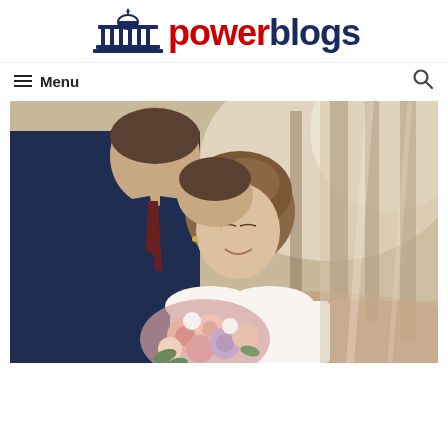[Figure (logo): PowerBlogs logo with a dark blue capitol building icon on the left and the text 'power' in red and 'blogs' in dark navy blue, bold, large font]
≡ Menu
[Figure (photo): Wedding couple in a forest setting. Groom in navy suit kissing bride on the forehead. Bride smiling with eyes closed, holding a bouquet of pink and white flowers. Sunlit trees in background.]